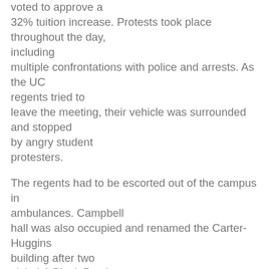voted to approve a 32% tuition increase. Protests took place throughout the day, including multiple confrontations with police and arrests. As the UC regents tried to leave the meeting, their vehicle was surrounded and stopped by angry student protesters.
The regents had to be escorted out of the campus in ambulances. Campbell hall was also occupied and renamed the Carter-Huggins building after two slain LA Black Panthers.
Friday, the day after, on November 20, UC Berkeley erupted in mass struggle. Over 40 individuals occupied Wheeler Hall the night before demanding among other things the rehire of the 32 laid-off UC Berkeley workers and political amnesty for the occupiers. Up to 1,500 students, workers and community folk